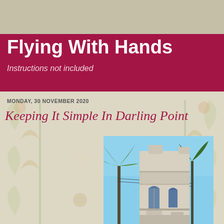[Figure (illustration): Art nouveau decorative background with flowers, leaves, and birds in muted greens and pinks]
Flying With Hands
Instructions not included
MONDAY, 30 NOVEMBER 2020
Keeping It Simple In Darling Point
[Figure (photo): Photograph of a historic stone tower or building with arched windows and Gothic architectural details, with a palm tree visible to the left against a blue sky]